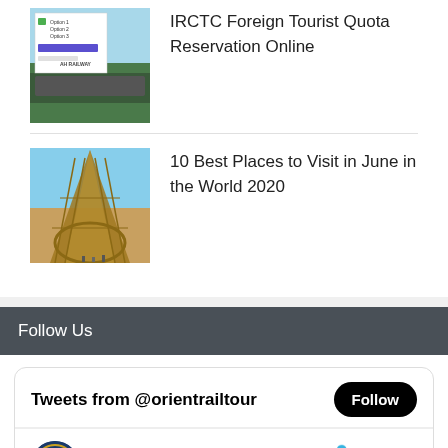[Figure (screenshot): Thumbnail image of IRCTC website/app screenshot with railway background]
IRCTC Foreign Tourist Quota Reservation Online
[Figure (photo): Thumbnail photo of Eiffel Tower viewed from below with blue sky]
10 Best Places to Visit in June in the World 2020
Follow Us
Tweets from @orientrailtour
OrientRailJ... @or... · Sep 17, 2020
Combining art, culture, rituals and ceremonies, every journey on #PalaceonWheels is a stunning experience that should not be missed. To enjoy the art